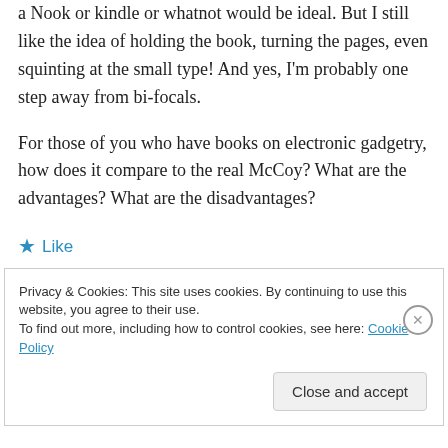a Nook or kindle or whatnot would be ideal. But I still like the idea of holding the book, turning the pages, even squinting at the small type! And yes, I'm probably one step away from bi-focals.
For those of you who have books on electronic gadgetry, how does it compare to the real McCoy? What are the advantages? What are the disadvantages?
★ Like
Privacy & Cookies: This site uses cookies. By continuing to use this website, you agree to their use. To find out more, including how to control cookies, see here: Cookie Policy
Close and accept